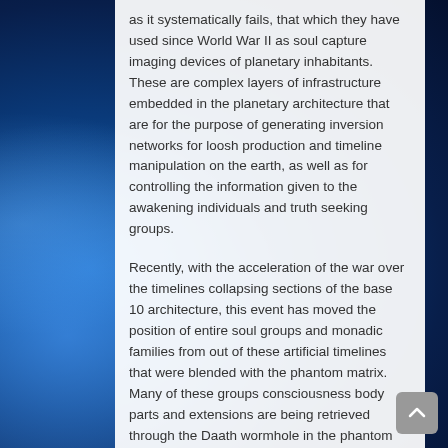as it systematically fails, that which they have used since World War II as soul capture imaging devices of planetary inhabitants. These are complex layers of infrastructure embedded in the planetary architecture that are for the purpose of generating inversion networks for loosh production and timeline manipulation on the earth, as well as for controlling the information given to the awakening individuals and truth seeking groups.
Recently, with the acceleration of the war over the timelines collapsing sections of the base 10 architecture, this event has moved the position of entire soul groups and monadic families from out of these artificial timelines that were blended with the phantom matrix. Many of these groups consciousness body parts and extensions are being retrieved through the Daath wormhole in the phantom matrix via the Mother Arc and Arc Technology, overseen by Yanas, which source from